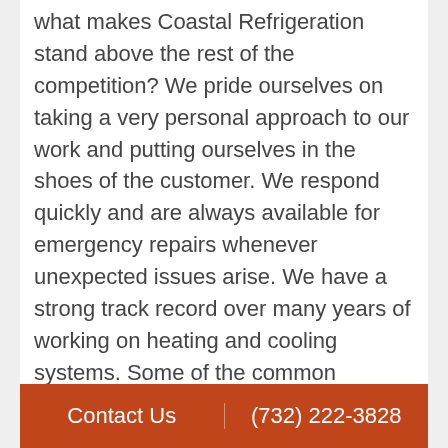what makes Coastal Refrigeration stand above the rest of the competition? We pride ourselves on taking a very personal approach to our work and putting ourselves in the shoes of the customer. We respond quickly and are always available for emergency repairs whenever unexpected issues arise. We have a strong track record over many years of working on heating and cooling systems. Some of the common heating repairs we provide to Middletown customers include:
Contact Us | (732) 222-3828